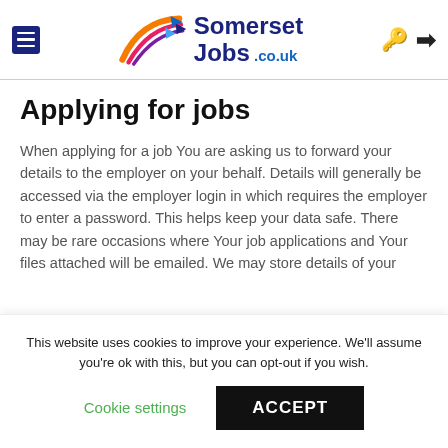[Figure (logo): Somerset Jobs .co.uk logo with colourful swoosh graphic and hamburger menu icon and key/login icons in header]
Applying for jobs
When applying for a job You are asking us to forward your details to the employer on your behalf. Details will generally be accessed via the employer login in which requires the employer to enter a password. This helps keep your data safe. There may be rare occasions where Your job applications and Your files attached will be emailed. We may store details of your
This website uses cookies to improve your experience. We'll assume you're ok with this, but you can opt-out if you wish.
Cookie settings   ACCEPT